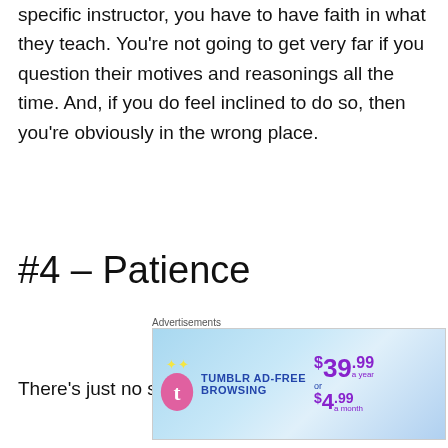specific instructor, you have to have faith in what they teach. You're not going to get very far if you question their motives and reasonings all the time. And, if you do feel inclined to do so, then you're obviously in the wrong place.
#4 – Patience
There's just no substitute for time. For many
[Figure (other): Tumblr Ad-Free Browsing advertisement banner showing price of $39.99 a year or $4.99 a month]